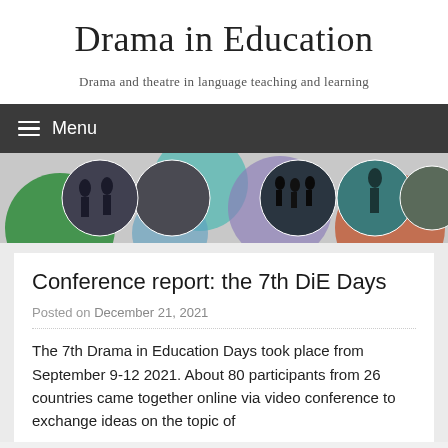Drama in Education
Drama and theatre in language teaching and learning
Menu
[Figure (photo): Banner with circular photo collages of drama and theatre scenes on a colorful background with circles in green, teal, purple, orange colors]
Conference report: the 7th DiE Days
Posted on December 21, 2021
The 7th Drama in Education Days took place from September 9-12 2021. About 80 participants from 26 countries came together online via video conference to exchange ideas on the topic of